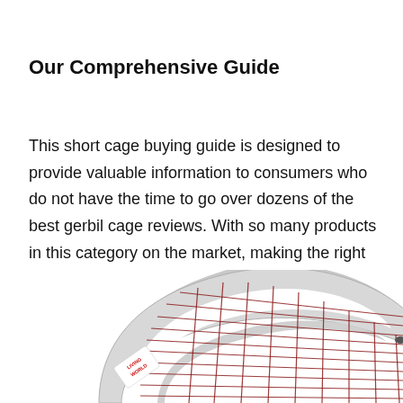Our Comprehensive Guide
This short cage buying guide is designed to provide valuable information to consumers who do not have the time to go over dozens of the best gerbil cage reviews. With so many products in this category on the market, making the right choice can be a real pain. Look at these elements first to ensure you are getting the right one for your pet's needs.
[Figure (photo): Partial view of a wire gerbil cage (Living World brand) showing the arched wire top structure with red/brown wire grid pattern]